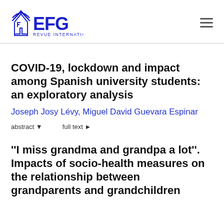[Figure (logo): EFG Revue Internationale logo with house/letter icon in blue]
COVID-19, lockdown and impact among Spanish university students: an exploratory analysis
Joseph Josy Lévy, Miguel David Guevara Espinar
abstract ▾   full text ▶
''I miss grandma and grandpa a lot''. Impacts of socio-health measures on the relationship between grandparents and grandchildren